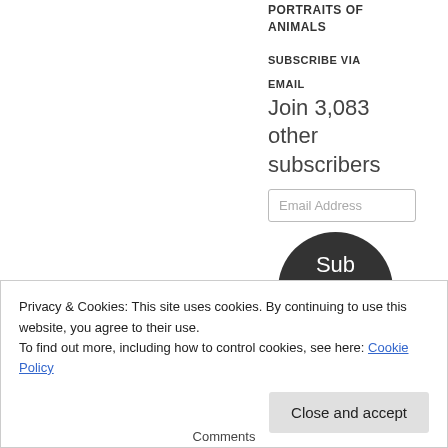PORTRAITS OF ANIMALS
SUBSCRIBE VIA
EMAIL
Join 3,083 other subscribers
[Figure (other): Email address input field with placeholder text 'Email Address']
[Figure (other): Dark circular Subscribe button with white text 'Subscribe']
Privacy & Cookies: This site uses cookies. By continuing to use this website, you agree to their use.
To find out more, including how to control cookies, see here: Cookie Policy
Close and accept
Comments